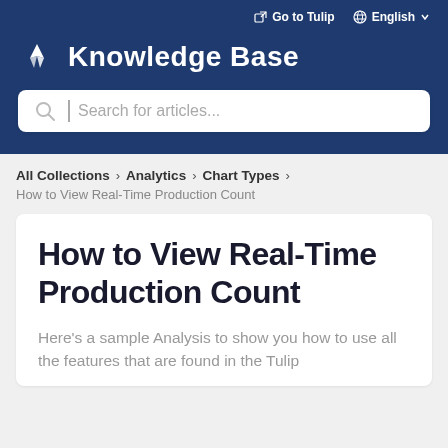Go to Tulip  English
Knowledge Base
Search for articles...
All Collections > Analytics > Chart Types >
How to View Real-Time Production Count
How to View Real-Time Production Count
Here's a sample Analysis to show you how to use all the features that are found in the Tulip...